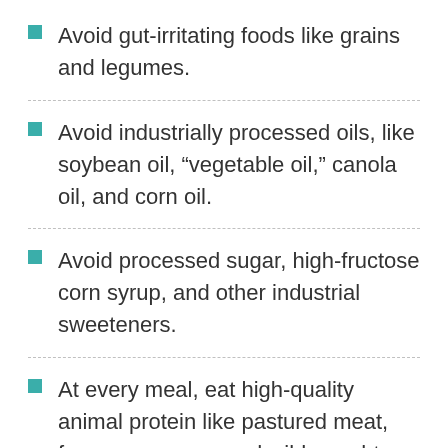Avoid gut-irritating foods like grains and legumes.
Avoid industrially processed oils, like soybean oil, “vegetable oil,” canola oil, and corn oil.
Avoid processed sugar, high-fructose corn syrup, and other industrial sweeteners.
At every meal, eat high-quality animal protein like pastured meat, free-range eggs, and wild-caught fish.
At every meal, eat a big pile of fresh vegetables. Eat fruit too if you like it,